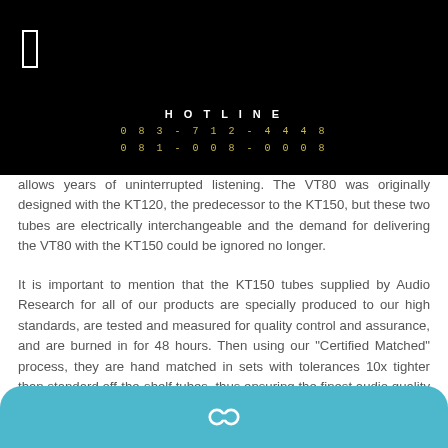HOTLINE
083-712-4448
081-008-0008
allows years of uninterrupted listening. The VT80 was originally designed with the KT120, the predecessor to the KT150, but these two tubes are electrically interchangeable and the demand for delivering the VT80 with the KT150 could be ignored no longer.
It is important to mention that the KT150 tubes supplied by Audio Research for all of our products are specially produced to our high standards, are tested and measured for quality control and assurance, and are burned in for 48 hours. Then using our "Certified Matched" process, they are hand matched in sets with tolerances 10x tighter than standard off-the-shelf tubes, thus ensuring the finest audio quality possible.